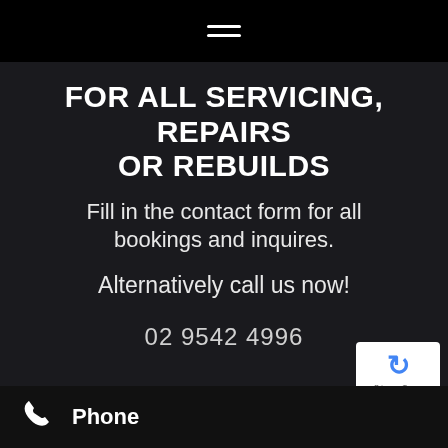≡ (hamburger menu icon)
FOR ALL SERVICING, REPAIRS OR REBUILDS
Fill in the contact form for all bookings and inquires.
Alternatively call us now!
02 9542 4996
[Figure (other): reCAPTCHA privacy badge with blue circular arrow logo, showing 'Privacy · Terms' text]
Phone